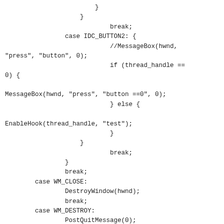Code snippet showing C++ Windows message handler with case IDC_BUTTON2, WM_CLOSE, and WM_DESTROY cases including MessageBox, EnableHook, DestroyWindow, and PostQuitMessage calls.